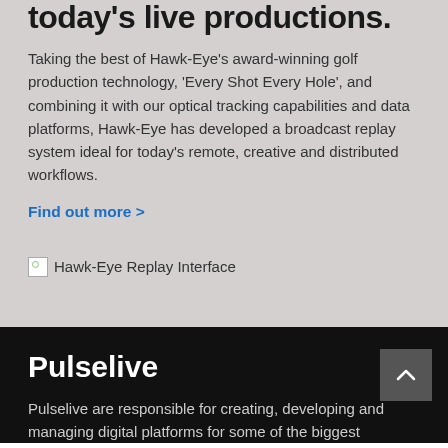today's live productions.
Taking the best of Hawk-Eye's award-winning golf production technology, 'Every Shot Every Hole', and combining it with our optical tracking capabilities and data platforms, Hawk-Eye has developed a broadcast replay system ideal for today's remote, creative and distributed workflows.
Find out more >
[Figure (photo): Hawk-Eye Replay Interface image placeholder]
Pulselive
Pulselive are responsible for creating, developing and managing digital platforms for some of the biggest